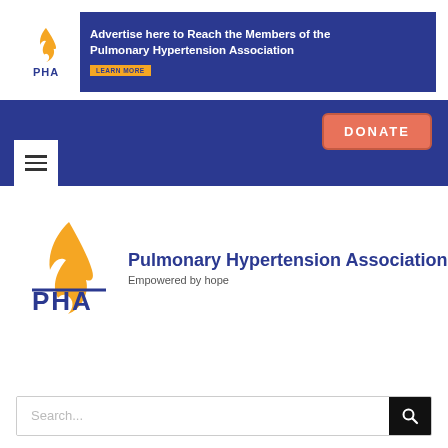[Figure (infographic): PHA banner advertisement: 'Advertise here to Reach the Members of the Pulmonary Hypertension Association' with logo and LEARN MORE button]
[Figure (logo): Donate button on blue navigation bar]
[Figure (logo): Hamburger menu icon and blue sidebar]
[Figure (logo): Pulmonary Hypertension Association main logo with flame graphic and text 'Pulmonary Hypertension Association / Empowered by hope']
Search...